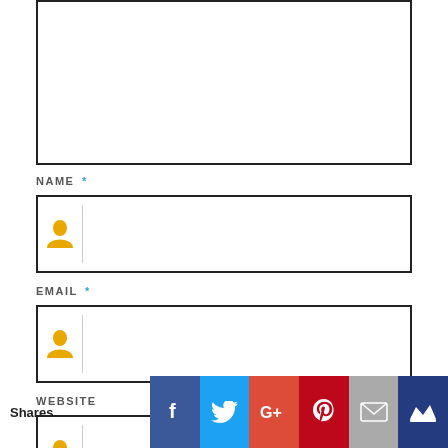[Figure (other): Partial comment text input box (top cropped)]
NAME *
[Figure (other): Name input field with person icon]
EMAIL *
[Figure (other): Email input field with person icon]
WEBSITE
[Figure (other): Website input field with person icon]
Shares